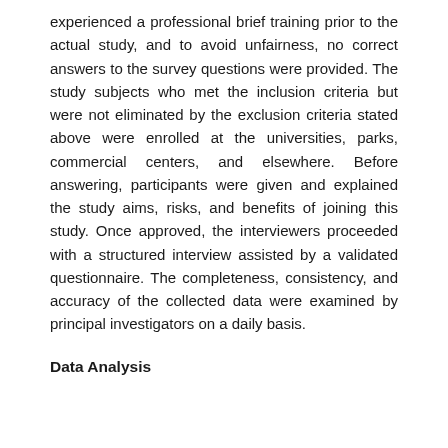experienced a professional brief training prior to the actual study, and to avoid unfairness, no correct answers to the survey questions were provided. The study subjects who met the inclusion criteria but were not eliminated by the exclusion criteria stated above were enrolled at the universities, parks, commercial centers, and elsewhere. Before answering, participants were given and explained the study aims, risks, and benefits of joining this study. Once approved, the interviewers proceeded with a structured interview assisted by a validated questionnaire. The completeness, consistency, and accuracy of the collected data were examined by principal investigators on a daily basis.
Data Analysis